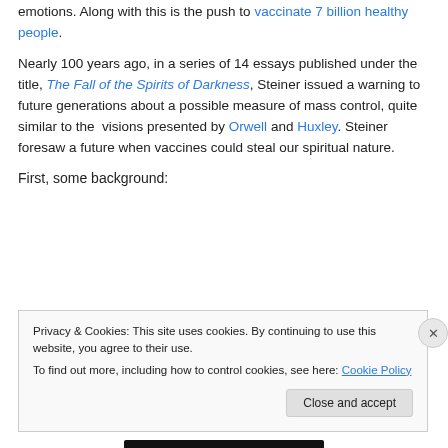emotions. Along with this is the push to vaccinate 7 billion healthy people.
Nearly 100 years ago, in a series of 14 essays published under the title, The Fall of the Spirits of Darkness, Steiner issued a warning to future generations about a possible measure of mass control, quite similar to the visions presented by Orwell and Huxley. Steiner foresaw a future when vaccines could steal our spiritual nature.
First, some background:
Privacy & Cookies: This site uses cookies. By continuing to use this website, you agree to their use.
To find out more, including how to control cookies, see here: Cookie Policy
Close and accept